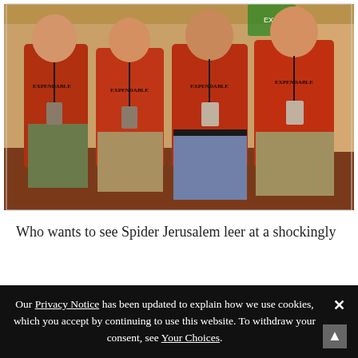[Figure (photo): Four men standing together wearing matching red 'EXPENDABLE' t-shirts with lanyards/badges, in what appears to be a hotel corridor with patterned carpet. They are posing for a group photo.]
Who wants to see Spider Jerusalem leer at a shockingly
Our Privacy Notice has been updated to explain how we use cookies, which you accept by continuing to use this website. To withdraw your consent, see Your Choices.